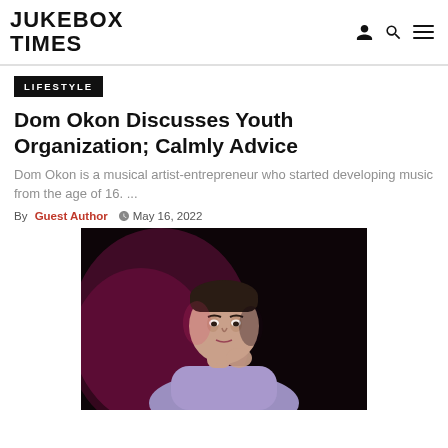JUKEBOX TIMES
LIFESTYLE
Dom Okon Discusses Youth Organization; Calmly Advice
Dom Okon is a musical artist-entrepreneur who started developing music from the age of 16. ...
By Guest Author  May 16, 2022
[Figure (photo): Young man in a purple/lavender shirt posing with hand near chin against a dark background with pink/red lighting]